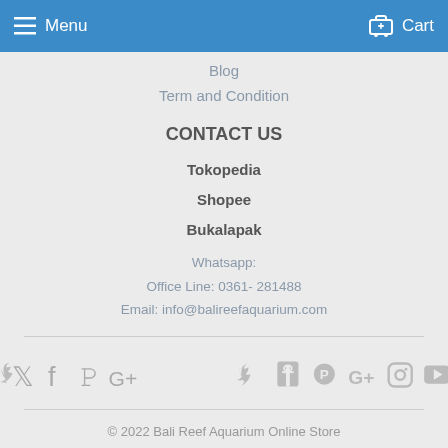Menu  Cart
Blog
Term and Condition
CONTACT US
Tokopedia
Shopee
Bukalapak
Whatsapp:
Office Line: 0361- 281488
Email: info@balireefaquarium.com
[Figure (infographic): Social media icons: Twitter, Facebook, Pinterest, Google+, Instagram, YouTube]
© 2022 Bali Reef Aquarium Online Store